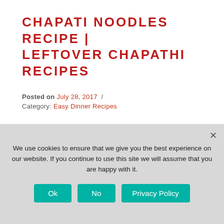CHAPATI NOODLES RECIPE | LEFTOVER CHAPATHI RECIPES
Posted on July 28, 2017 / Category: Easy Dinner Recipes
[Figure (infographic): Social media share buttons row 1: Facebook (28), Twitter (0), Pinterest (74), Yummly (0), Pocket, WhatsApp, Messenger; Row 2: LinkedIn (0), Mix, Reddit (0), Flipboard, share icon, 102 SHARES]
Some chapati lying in your refrigerator idle for days? No
We use cookies to ensure that we give you the best experience on our website. If you continue to use this site we will assume that you are happy with it.
Ok  No  Privacy Policy